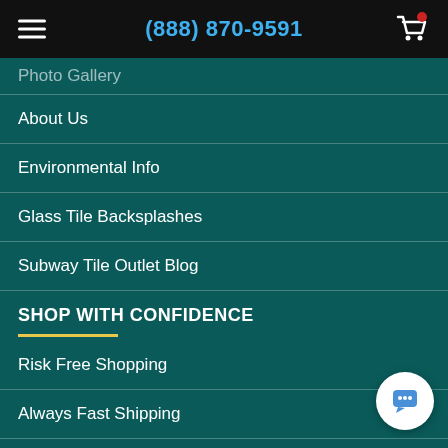(888) 870-9591
Photo Gallery
About Us
Environmental Info
Glass Tile Backsplashes
Subway Tile Outlet Blog
SHOP WITH CONFIDENCE
Risk Free Shopping
Always Fast Shipping
Low Price Guarantee
Company Policy
Privacy Policy
Contact Us
FAQ